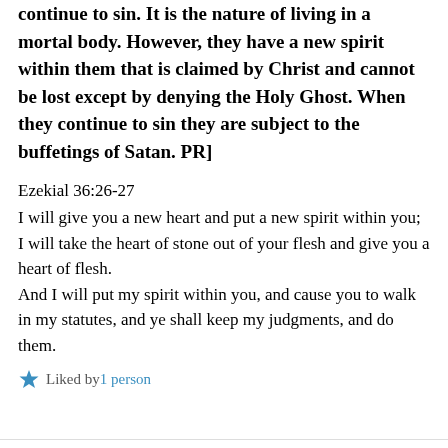continue to sin. It is the nature of living in a mortal body. However, they have a new spirit within them that is claimed by Christ and cannot be lost except by denying the Holy Ghost. When they continue to sin they are subject to the buffetings of Satan. PR]
Ezekial 36:26-27
I will give you a new heart and put a new spirit within you; I will take the heart of stone out of your flesh and give you a heart of flesh. And I will put my spirit within you, and cause you to walk in my statutes, and ye shall keep my judgments, and do them.
Liked by 1 person